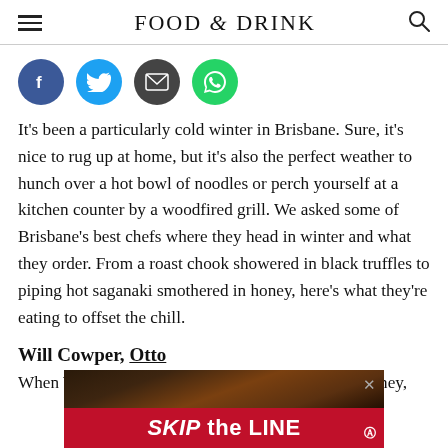FOOD & DRINK
[Figure (infographic): Social sharing icons row: Facebook (blue circle), Twitter (cyan circle), Email (dark grey circle with envelope), WhatsApp (green circle with phone)]
It’s been a particularly cold winter in Brisbane. Sure, it’s nice to rug up at home, but it’s also the perfect weather to hunch over a hot bowl of noodles or perch yourself at a kitchen counter by a woodfired grill. We asked some of Brisbane’s best chefs where they head in winter and what they order. From a roast chook showered in black truffles to piping hot saganaki smothered in honey, here’s what they’re eating to offset the chill.
Will Cowper, Otto
When Will Cowper’s family comes to visit from Sydney,
[Figure (infographic): Advertisement banner: SKIP the LINE promotional ad with dark background showing hands and a red bar with white bold text]